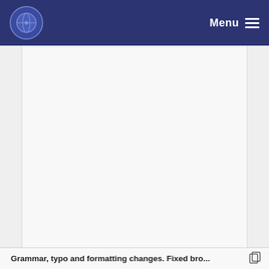Menu
[Figure (other): Large blank/empty content area representing a webpage screenshot with left and right side borders on a light gray background]
Grammar, typo and formatting changes. Fixed bro...